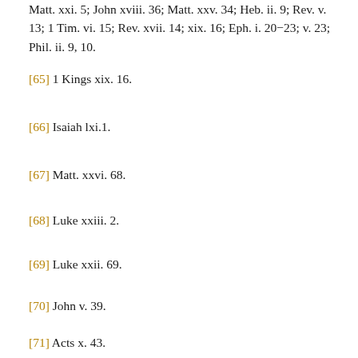Matt. xxi. 5; John xviii. 36; Matt. xxv. 34; Heb. ii. 9; Rev. v. 13; 1 Tim. vi. 15; Rev. xvii. 14; xix. 16; Eph. i. 20–23; v. 23; Phil. ii. 9, 10.
[65] 1 Kings xix. 16.
[66] Isaiah lxi.1.
[67] Matt. xxvi. 68.
[68] Luke xxiii. 2.
[69] Luke xxii. 69.
[70] John v. 39.
[71] Acts x. 43.
[72] John iii. 28.
[73] Matt. iii. 17.